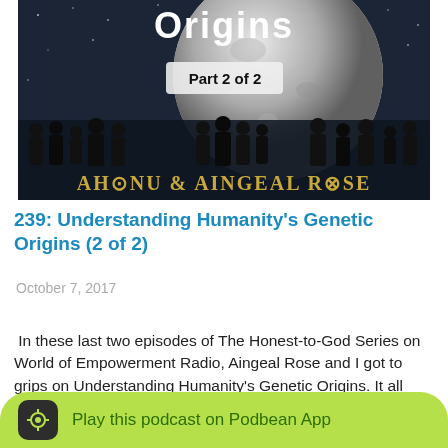[Figure (photo): Podcast cover art showing silhouettes of people against a large moon background with text 'Origins', 'Part 2 of 2', 'AHONU & AINGEAL ROSE']
239: Understanding Humanity's Genetic Origins (2 of 2)
October 7, 2017
In these last two episodes of The Honest-to-God Series on World of Empowerment Radio, Aingeal Rose and I got to grips on Understanding Humanity's Genetic Origins. It all arose from weeks and weeks of the Nephilim and the Elohim and
Play this podcast on Podbean App